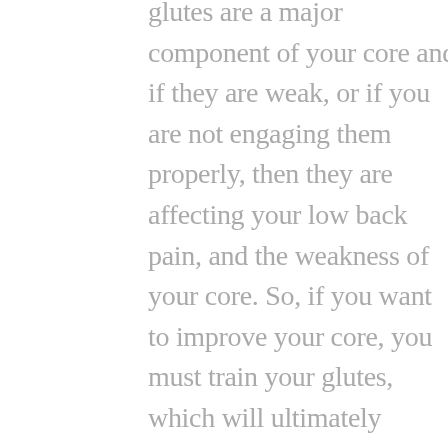glutes are a major component of your core and if they are weak, or if you are not engaging them properly, then they are affecting your low back pain, and the weakness of your core. So, if you want to improve your core, you must train your glutes, which will ultimately improve your strength, reduce your pain, and work your abs/core.
You can have the body you want, and you can have tight abs boys and girls! The key is to eat according to the body you want, and to exercise regularly! This does not mean you need to just